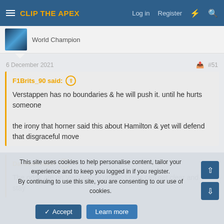CLIP THE APEX | Log in | Register
World Champion
6 December 2021   #51
F1Brits_90 said: Verstappen has no boundaries & he will push it. until he hurts someone

the irony that horner said this about Hamilton & yet will defend that disgraceful move
Dartman said: The odds are on Verstappen unless Lewis can get clear and stay
This site uses cookies to help personalise content, tailor your experience and to keep you logged in if you register.
By continuing to use this site, you are consenting to our use of cookies.